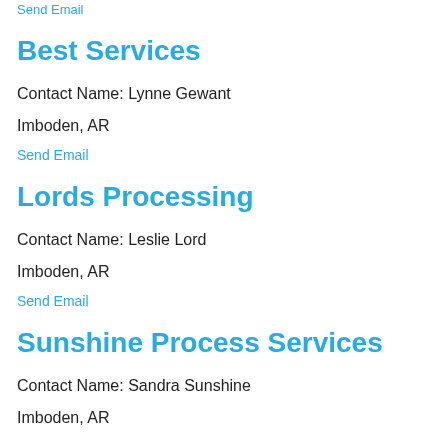Send Email
Best Services
Contact Name: Lynne Gewant
Imboden, AR
Send Email
Lords Processing
Contact Name: Leslie Lord
Imboden, AR
Send Email
Sunshine Process Services
Contact Name: Sandra Sunshine
Imboden, AR